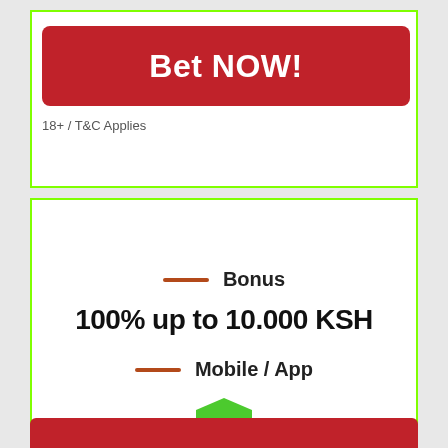Bet NOW!
18+ / T&C Applies
Bonus
100% up to 10.000 KSH
Mobile / App